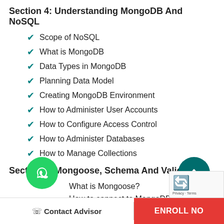Section 4: Understanding MongoDB And NoSQL
Scope of NoSQL
What is MongoDB
Data Types in MongoDB
Planning Data Model
Creating MongoDB Environment
How to Administer User Accounts
How to Configure Access Control
How to Administer Databases
How to Manage Collections
Section 5: Mongoose, Schema And Validation
What is Mongoose?
How to connect to MongoDB using Mongoose
Contact Advisor | ENROLL NOW